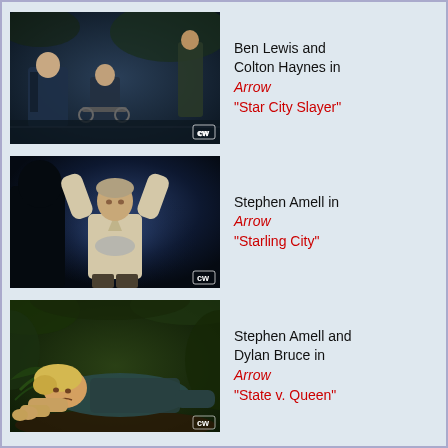[Figure (photo): Ben Lewis and Colton Haynes in a dark outdoor scene from Arrow, with CW logo]
Ben Lewis and Colton Haynes in Arrow "Star City Slayer"
[Figure (photo): Stephen Amell with arms raised in Arrow, lit from below, with CW logo]
Stephen Amell in Arrow "Starling City"
[Figure (photo): Stephen Amell and Dylan Bruce in outdoor jungle scene from Arrow, with CW logo]
Stephen Amell and Dylan Bruce in Arrow "State v. Queen"